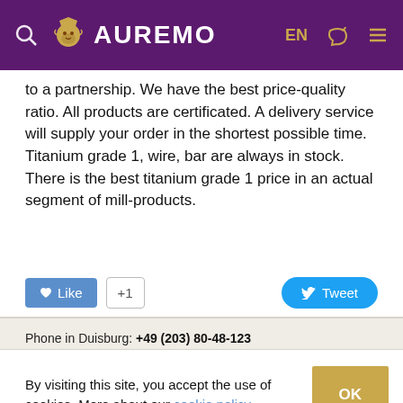AUREMO
to a partnership. We have the best price-quality ratio. All products are certificated. A delivery service will supply your order in the shortest possible time. Titanium grade 1, wire, bar are always in stock. There is the best titanium grade 1 price in an actual segment of mill-products.
[Figure (screenshot): Social sharing buttons: Like button with heart icon, +1 button, and Tweet button with bird icon]
Phone in Duisburg: +49 (203) 80-48-123
E-mail: info@auremo.org
On-line Payment   Calculator rolled metal
By visiting this site, you accept the use of cookies. More about our cookie policy.